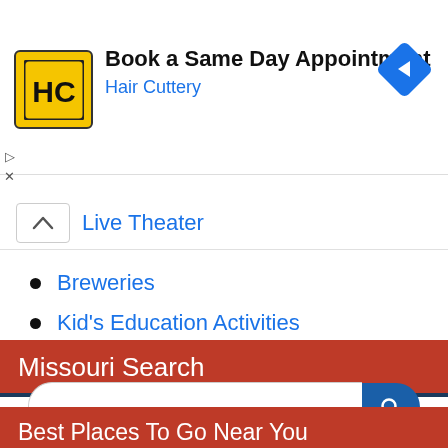[Figure (logo): Hair Cuttery HC logo in yellow square with black border]
Book a Same Day Appointment
Hair Cuttery
Live Theater
Breweries
Kid's Education Activities
Missouri Search
Best Places To Go Near You